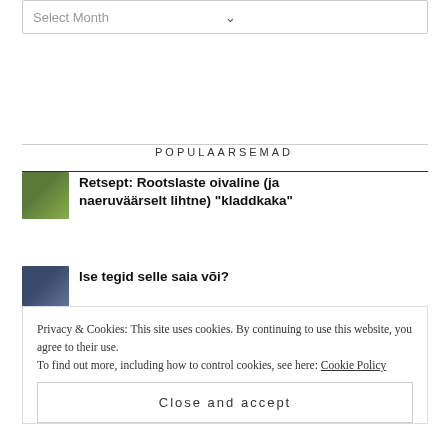Select Month
POPULAARSEMAD
Retsept: Rootslaste oivaline (ja naeruväärselt lihtne) "kladdkaka"
Ise tegid selle saia või?
Privacy & Cookies: This site uses cookies. By continuing to use this website, you agree to their use.
To find out more, including how to control cookies, see here: Cookie Policy
Close and accept